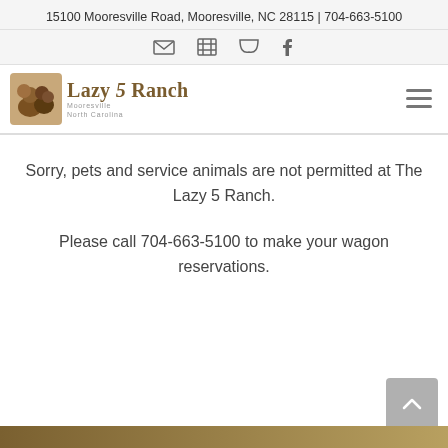15100 Mooresville Road, Mooresville, NC 28115 | 704-663-5100
[Figure (other): Icon bar with envelope, map, speech bubble, and Facebook icons]
[Figure (logo): Lazy 5 Ranch logo with animal illustration and text 'Lazy 5 Ranch Mooresville, North Carolina']
Sorry, pets and service animals are not permitted at The Lazy 5 Ranch.
Please call 704-663-5100 to make your wagon reservations.